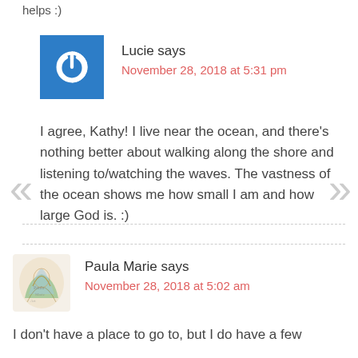helps :)
Lucie says
November 28, 2018 at 5:31 pm
I agree, Kathy! I live near the ocean, and there's nothing better about walking along the shore and listening to/watching the waves. The vastness of the ocean shows me how small I am and how large God is. :)
Paula Marie says
November 28, 2018 at 5:02 am
I don't have a place to go to, but I do have a few